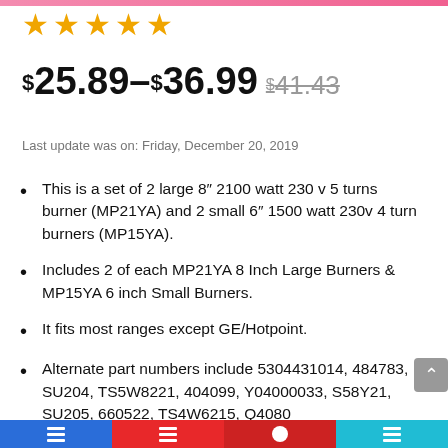[Figure (other): Five gold star rating icons]
$25.89–$36.99 $41.43 (strikethrough)
Last update was on: Friday, December 20, 2019
This is a set of 2 large 8″ 2100 watt 230 v 5 turns burner (MP21YA) and 2 small 6″ 1500 watt 230v 4 turn burners (MP15YA).
Includes 2 of each MP21YA 8 Inch Large Burners & MP15YA 6 inch Small Burners.
It fits most ranges except GE/Hotpoint.
Alternate part numbers include 5304431014, 484783, SU204, TS5W8221, 404099, Y04000033, S58Y21, SU205, 660522, TS4W6215, Q4080